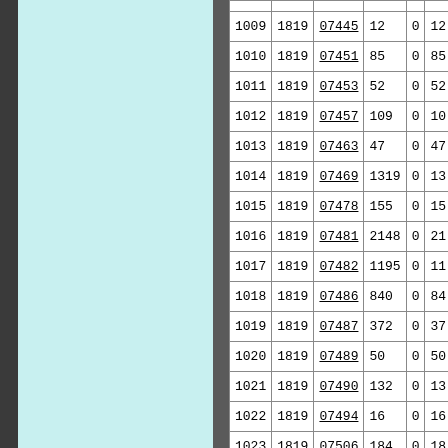|  | 1819 | Code |  | 0 |  |
| --- | --- | --- | --- | --- | --- |
| 1009 | 1819 | 07445 | 12 | 0 | 12 |
| 1010 | 1819 | 07451 | 85 | 0 | 85 |
| 1011 | 1819 | 07453 | 52 | 0 | 52 |
| 1012 | 1819 | 07457 | 109 | 0 | 109 |
| 1013 | 1819 | 07463 | 47 | 0 | 47 |
| 1014 | 1819 | 07469 | 1319 | 0 | 13… |
| 1015 | 1819 | 07478 | 155 | 0 | 155 |
| 1016 | 1819 | 07481 | 2148 | 0 | 21… |
| 1017 | 1819 | 07482 | 1195 | 0 | 11… |
| 1018 | 1819 | 07486 | 840 | 0 | 84… |
| 1019 | 1819 | 07487 | 372 | 0 | 37… |
| 1020 | 1819 | 07489 | 50 | 0 | 50 |
| 1021 | 1819 | 07490 | 132 | 0 | 13… |
| 1022 | 1819 | 07494 | 16 | 0 | 16… |
| 1023 | 1819 | 07506 | 184 | 0 | 18… |
| 1024 | 1819 | 07522 | 210 | 0 | 21… |
| 1025 | 1819 | 07539 | 4 | 0 | 4 |